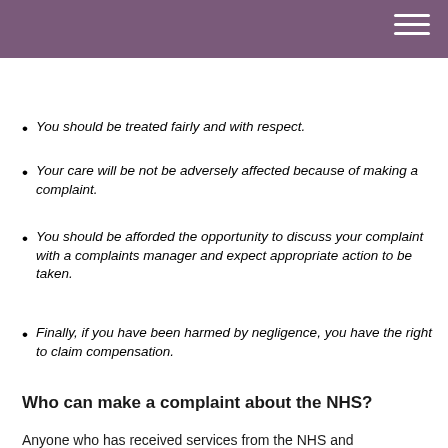You can complain verbally or in writing.
You have the right to have your complaint acknowledged quickly and explored thoroughly, and then to be informed of the outcome.
You should be treated fairly and with respect.
Your care will be not be adversely affected because of making a complaint.
You should be afforded the opportunity to discuss your complaint with a complaints manager and expect appropriate action to be taken.
Finally, if you have been harmed by negligence, you have the right to claim compensation.
Who can make a complaint about the NHS?
Anyone who has received services from the NHS and